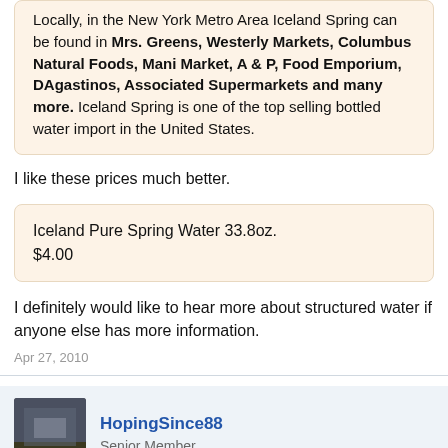Locally, in the New York Metro Area Iceland Spring can be found in Mrs. Greens, Westerly Markets, Columbus Natural Foods, Mani Market, A & P, Food Emporium, DAgastinos, Associated Supermarkets and many more. Iceland Spring is one of the top selling bottled water import in the United States.
I like these prices much better.
Iceland Pure Spring Water 33.8oz.
$4.00
I definitely would like to hear more about structured water if anyone else has more information.
Apr 27, 2010
HopingSince88
Senior Member